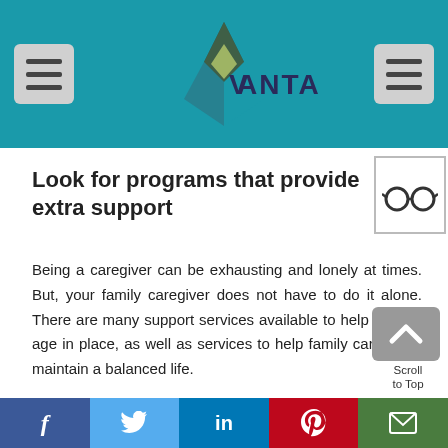Vantage (logo header with menu buttons)
Look for programs that provide extra support
[Figure (illustration): Glasses icon in a bordered square]
Being a caregiver can be exhausting and lonely at times. But, your family caregiver does not have to do it alone. There are many support services available to help seniors age in place, as well as services to help family caregivers maintain a balanced life.
Social share bar: Facebook, Twitter, LinkedIn, Pinterest, Email